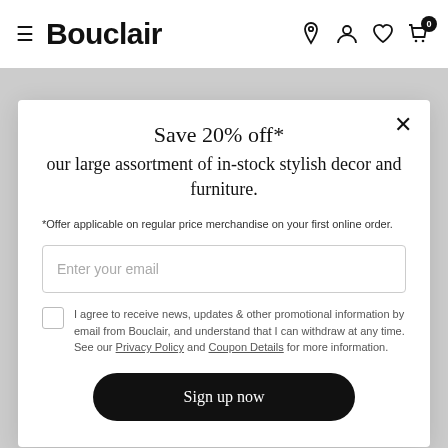Bouclair
Save 20% off*
our large assortment of in-stock stylish decor and furniture.
*Offer applicable on regular price merchandise on your first online order.
Enter your email
I agree to receive news, updates & other promotional information by email from Bouclair, and understand that I can withdraw at any time. See our Privacy Policy and Coupon Details for more information.
Sign up now